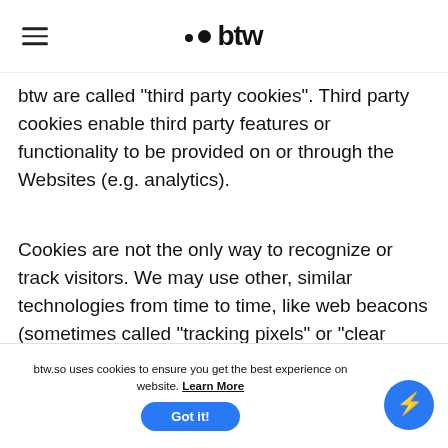btw
btw are called "third party cookies". Third party cookies enable third party features or functionality to be provided on or through the Websites (e.g. analytics).
Cookies are not the only way to recognize or track visitors. We may use other, similar technologies from time to time, like web beacons (sometimes called "tracking pixels" or "clear gifs")
What cookies do we use and
btw.so uses cookies to ensure you get the best experience on website. Learn More
Got it!